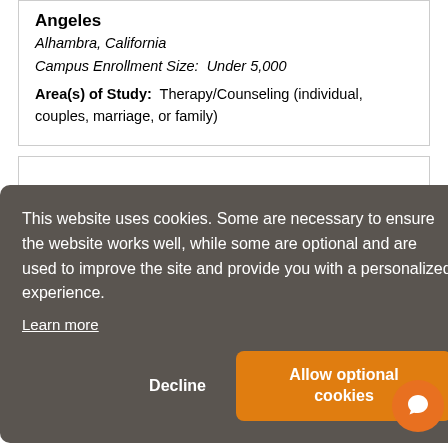Angeles
Alhambra, California
Campus Enrollment Size: Under 5,000
Area(s) of Study: Therapy/Counseling (individual, couples, marriage, or family)
This website uses cookies. Some are necessary to ensure the website works well, while some are optional and are used to improve the site and provide you with a personalized experience. Learn more
Decline  Allow optional cookies
Area(s) of Study: Therapy/Counseling (individual,